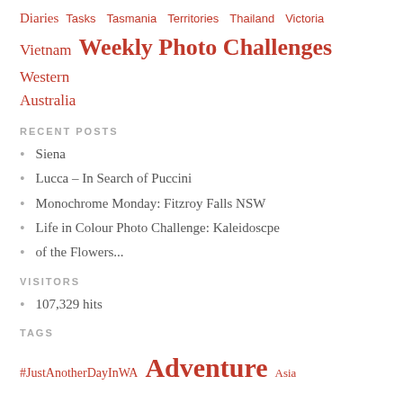Diaries  Tasks  Tasmania  Territories  Thailand  Victoria  Vietnam  Weekly Photo Challenges  Western Australia
RECENT POSTS
Siena
Lucca – In Search of Puccini
Monochrome Monday: Fitzroy Falls NSW
Life in Colour Photo Challenge: Kaleidoscpe
of the Flowers...
VISITORS
107,329 hits
TAGS
#JustAnotherDayInWA  Adventure  Asia  Australia  Borneo  Cambodia  China  Europe  Exploration  India  JKRoaming